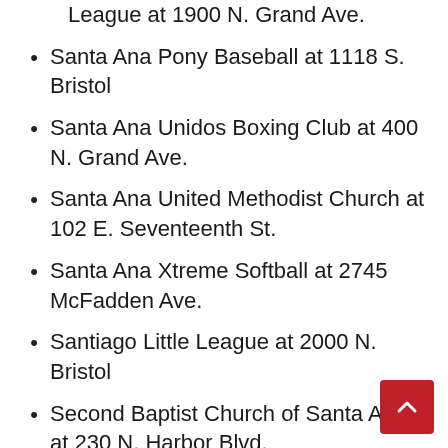League at 1900 N. Grand Ave.
Santa Ana Pony Baseball at 1118 S. Bristol
Santa Ana Unidos Boxing Club at 400 N. Grand Ave.
Santa Ana United Methodist Church at 102 E. Seventeenth St.
Santa Ana Xtreme Softball at 2745 McFadden Ave.
Santiago Little League at 2000 N. Bristol
Second Baptist Church of Santa Ana** at 230 N. Harbor Blvd.
Sound Chapel at 651 W. Sunflower